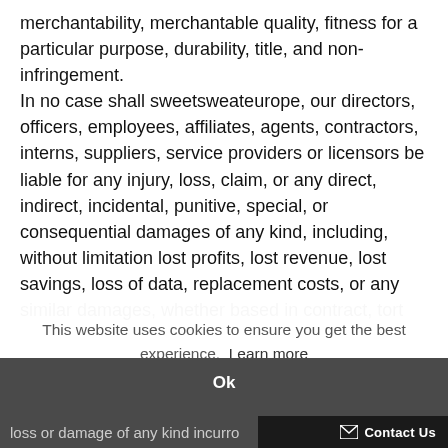merchantability, merchantable quality, fitness for a particular purpose, durability, title, and non-infringement. In no case shall sweetsweateurope, our directors, officers, employees, affiliates, agents, contractors, interns, suppliers, service providers or licensors be liable for any injury, loss, claim, or any direct, indirect, incidental, punitive, special, or consequential damages of any kind, including, without limitation lost profits, lost revenue, lost savings, loss of data, replacement costs, or any similar damages, whether based in contract, tort
This website uses cookies to ensure you get the best experience. Learn more
Ok
loss or damage of any kind incurro